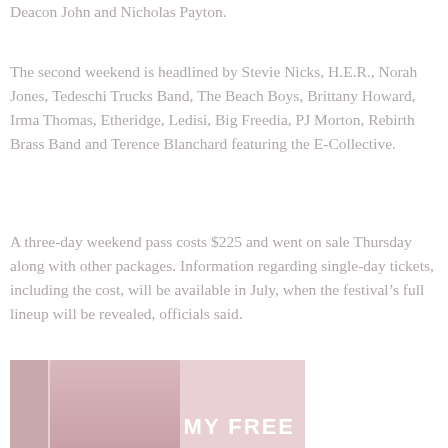Deacon John and Nicholas Payton.
The second weekend is headlined by Stevie Nicks, H.E.R., Norah Jones, Tedeschi Trucks Band, The Beach Boys, Brittany Howard, Irma Thomas, Etheridge, Ledisi, Big Freedia, PJ Morton, Rebirth Brass Band and Terence Blanchard featuring the E-Collective.
A three-day weekend pass costs $225 and went on sale Thursday along with other packages. Information regarding single-day tickets, including the cost, will be available in July, when the festival's full lineup will be revealed, officials said.
[Figure (photo): Partially visible advertisement image showing a woman with blonde hair against a pink/rose background with text 'MY FREE' visible]